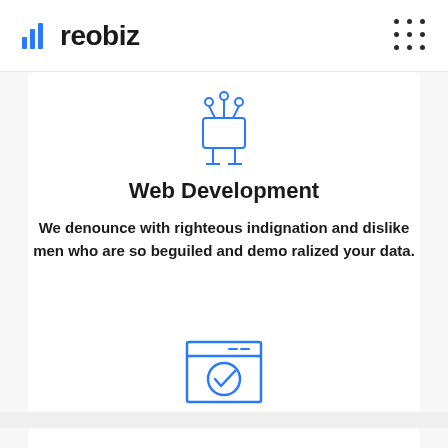reobiz
[Figure (illustration): Blue line art robot/tech icon with antenna and circuit-board body]
Web Development
We denounce with righteous indignation and dislike men who are so beguiled and demo ralized your data.
[Figure (illustration): Blue line art browser/window icon with a checkmark circle inside]